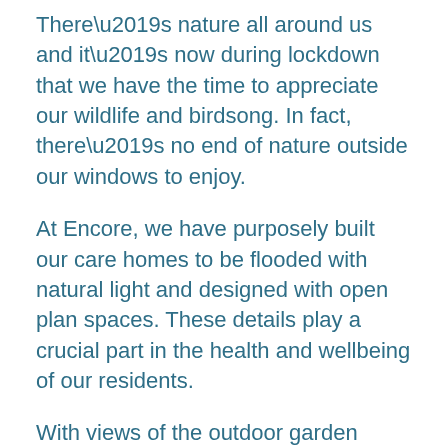There’s nature all around us and it’s now during lockdown that we have the time to appreciate our wildlife and birdsong. In fact, there’s no end of nature outside our windows to enjoy.
At Encore, we have purposely built our care homes to be flooded with natural light and designed with open plan spaces. These details play a crucial part in the health and wellbeing of our residents.
With views of the outdoor garden spaces and balconies to enjoy overlooking the birdfeeders and trees, it means that bird watching can become a hobby.
We’re going to guess that you already know your magpies, pigeons and robins, so, here’s how to